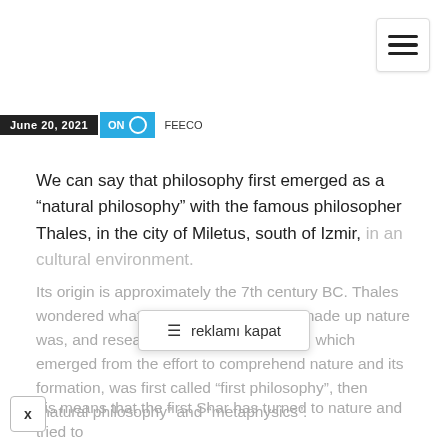[Figure (screenshot): Hamburger menu icon (three horizontal lines) in top-right corner with white background and light border]
June 20, 2021  ON  FEECO
We can say that philosophy first emerged as a “natural philosophy” with the famous philosopher Thales, in the city of Miletus, south of Izmir, in an cultural environment.
reklaмı kapat
Its origin is approximately the 7th century BC. Thales wondered what the basic element that made up nature was, and researched it. This philosophy, which emerged from the effort to comprehend nature and its formation, was first called “first philosophy”, then “natural philosophy” and “metaphysics”.
his means that the first Shar has turned to nature and tried to understand nature. Until then, as in the Anatolian...